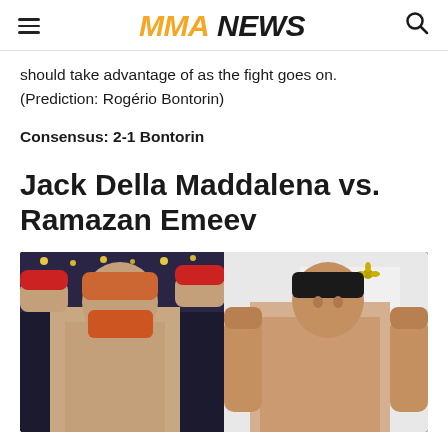MMA NEWS
should take advantage of as the fight goes on. (Prediction: Rogério Bontorin)
Consensus: 2-1 Bontorin
Jack Della Maddalena vs. Ramazan Emeev
[Figure (photo): Side-by-side photo of two MMA fighters: on the left, a shirtless male fighter with reddish beard raising his arms wearing red gloves; on the right, a shirtless lean male fighter posing in front of a Jeunes Arena sign.]